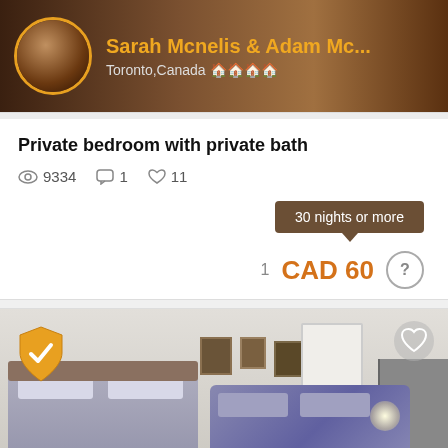[Figure (photo): Listing host banner with avatar photo of Sarah Mcnelis and Adam Mc... from Toronto, Canada]
Sarah Mcnelis & Adam Mc...
Toronto,Canada
Private bedroom with private bath
9334   1   11
30 nights or more
1   CAD 60
[Figure (photo): Interior photo of a bedroom with two beds, framed photos on wall, lamp, and hallway visible. Gold shield with checkmark icon in top left, white heart icon in top right.]
Imelda
Toronto, Canada